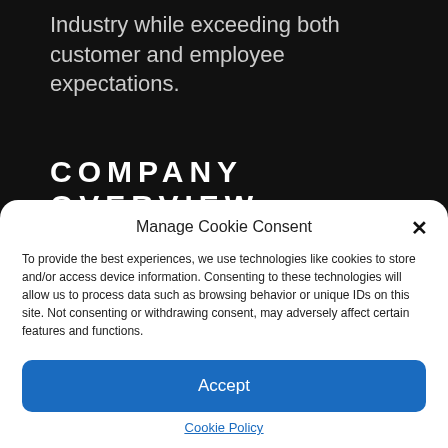Industry while exceeding both customer and employee expectations.
COMPANY OVERVIEW
⇒ View us in action
Manage Cookie Consent
To provide the best experiences, we use technologies like cookies to store and/or access device information. Consenting to these technologies will allow us to process data such as browsing behavior or unique IDs on this site. Not consenting or withdrawing consent, may adversely affect certain features and functions.
Accept
Cookie Policy